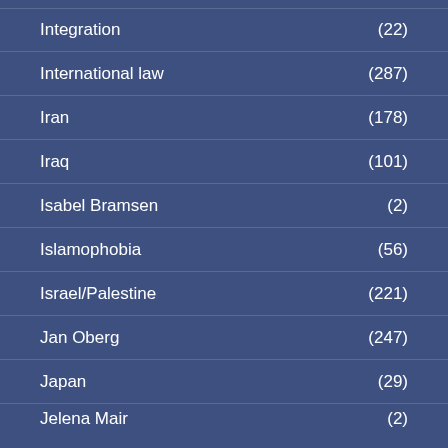Integration (22)
International law (287)
Iran (178)
Iraq (101)
Isabel Bramsen (2)
Islamophobia (56)
Israel/Palestine (221)
Jan Oberg (247)
Japan (29)
Jelena Mair (2)